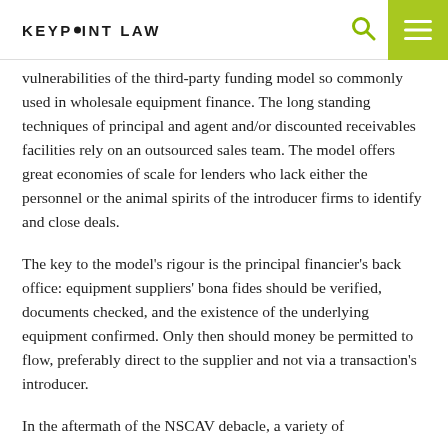KEYPOINT LAW
vulnerabilities of the third-party funding model so commonly used in wholesale equipment finance. The long standing techniques of principal and agent and/or discounted receivables facilities rely on an outsourced sales team. The model offers great economies of scale for lenders who lack either the personnel or the animal spirits of the introducer firms to identify and close deals.
The key to the model's rigour is the principal financier's back office: equipment suppliers' bona fides should be verified, documents checked, and the existence of the underlying equipment confirmed. Only then should money be permitted to flow, preferably direct to the supplier and not via a transaction's introducer.
In the aftermath of the NSCAV debacle, a variety of